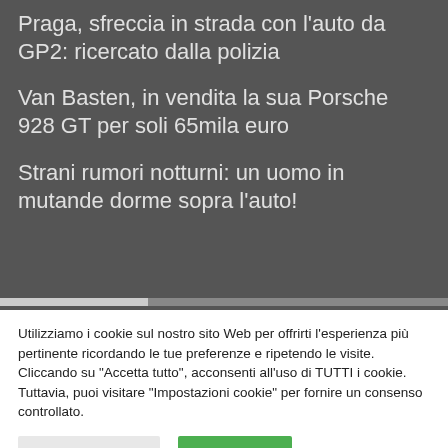Praga, sfreccia in strada con l'auto da GP2: ricercato dalla polizia
Van Basten, in vendita la sua Porsche 928 GT per soli 65mila euro
Strani rumori notturni: un uomo in mutande dorme sopra l'auto!
Utilizziamo i cookie sul nostro sito Web per offrirti l'esperienza più pertinente ricordando le tue preferenze e ripetendo le visite. Cliccando su "Accetta tutto", acconsenti all'uso di TUTTI i cookie. Tuttavia, puoi visitare "Impostazioni cookie" per fornire un consenso controllato.
Cookie Settings
Accept All